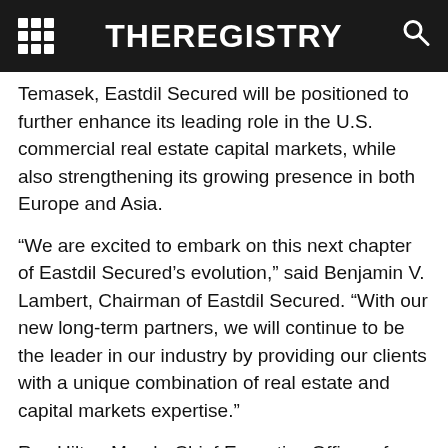THEREGISTRY
Temasek, Eastdil Secured will be positioned to further enhance its leading role in the U.S. commercial real estate capital markets, while also strengthening its growing presence in both Europe and Asia.
“We are excited to embark on this next chapter of Eastdil Secured’s evolution,” said Benjamin V. Lambert, Chairman of Eastdil Secured. “With our new long-term partners, we will continue to be the leader in our industry by providing our clients with a unique combination of real estate and capital markets expertise.”
Roy Hilton March, Chief Executive Officer of Eastdil Secured, said, “Guggenheim Investments, on behalf of certain institutional clients, and Temasek represent ideal partners for Eastdil Secured as we embark on this next stage of growth. The eagerness of our professionals to acquire a meaningful stake in the future of Eastdil Secured, alongside these preeminent investors, underscores our shared confidence in our firm’s people and future. Most importantly,